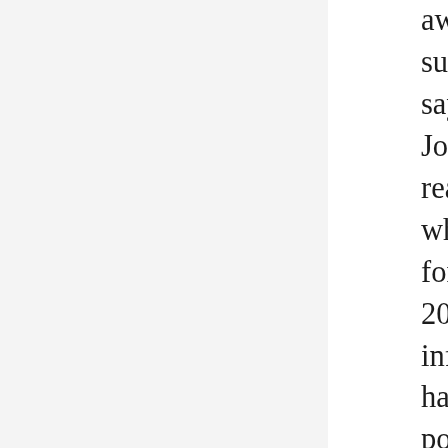awesome for any business. Keep sharing such knowledgeable articles. Jeff Jackson says.: December 26, 2018 at 4:19: pm. Hey Josh thanks for this awesome post. I love to read such articles from professionals and when they explain the effectiveness of SEo for a business. Wazeh Rahe says.: April 29, 2019 at 7:20: pm. This is really an informative and helpful article which I ever have seen. Looking forward to your future post! Muhammmad Shahbaz says.: May 27, 2019 at 8:04: pm. It is really helpful to understand SEO importance in the current era. I am also a Digital Marker running my own Digital Marketing Agency I truly found your article beneficial for my clients to understand more about SEO and internet marketing. keep writing, Stay Blessed. Scott Hale says.: August 27, 2019 at 11:20: am. SEO is one of the most advanced Digital Marketing